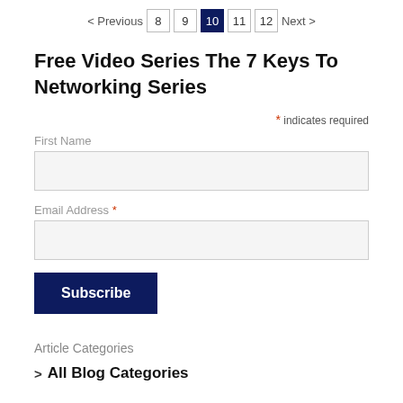< Previous  8  9  10  11  12  Next >
Free Video Series The 7 Keys To Networking Series
* indicates required
First Name
Email Address *
Subscribe
Article Categories
> All Blog Categories